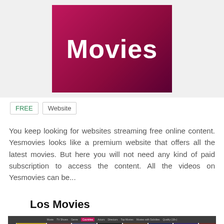[Figure (screenshot): Yesmovies website banner with dark pink/crimson gradient background and large white 'Movies' text]
FREE   Website
You keep looking for websites streaming free online content. Yesmovies looks like a premium website that offers all the latest movies. But here you will not need any kind of paid subscription to access the content. All the videos on Yesmovies can be...
Los Movies
[Figure (screenshot): Los Movies website screenshot showing navigation bar and movie poster thumbnails including Deadpool 3, Sicario, and Ocean's 8]